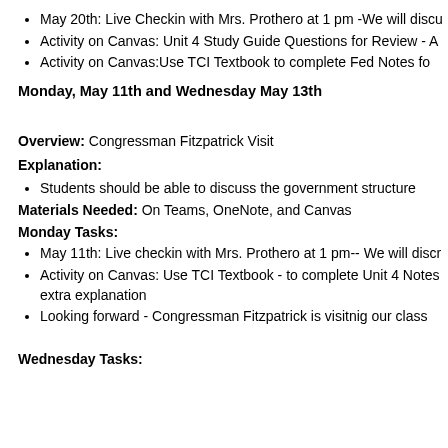May 20th: Live Checkin with Mrs. Prothero at 1 pm -We will discu
Activity on Canvas: Unit 4 Study Guide Questions for Review - A
Activity on Canvas:Use TCI Textbook to complete Fed Notes fo
Monday, May 11th and Wednesday May 13th
Overview: Congressman Fitzpatrick Visit
Explanation:
Students should be able to discuss the government structure
Materials Needed:  On Teams, OneNote, and Canvas
Monday Tasks:
May 11th: Live checkin with Mrs. Prothero at 1 pm-- We will discr
Activity on Canvas: Use TCI Textbook - to complete Unit 4 Notes extra explanation
Looking forward - Congressman Fitzpatrick is visitnig our class
Wednesday Tasks: